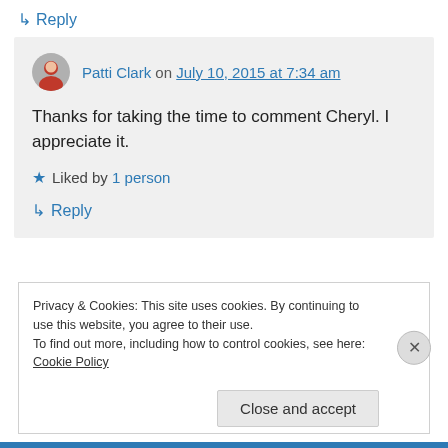↳ Reply
Patti Clark on July 10, 2015 at 7:34 am
Thanks for taking the time to comment Cheryl. I appreciate it.
★ Liked by 1 person
↳ Reply
Privacy & Cookies: This site uses cookies. By continuing to use this website, you agree to their use.
To find out more, including how to control cookies, see here: Cookie Policy
Close and accept